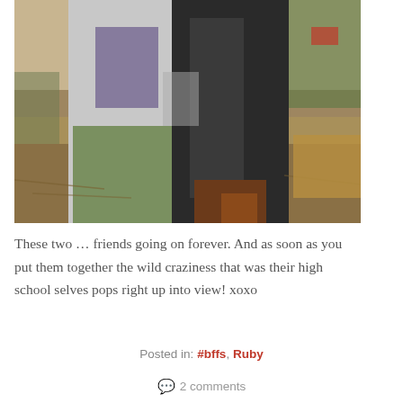[Figure (photo): Two people standing outdoors side by side. The person on the left wears a light grey hoodie and green/olive trousers. The person on the right wears a dark jacket/coat. There appears to be a dog or animal near their feet. The background shows dry ground, hay, and a green fence or netting.]
These two … friends going on forever. And as soon as you put them together the wild craziness that was their high school selves pops right up into view! xoxo
Posted in: #bffs, Ruby
2 comments